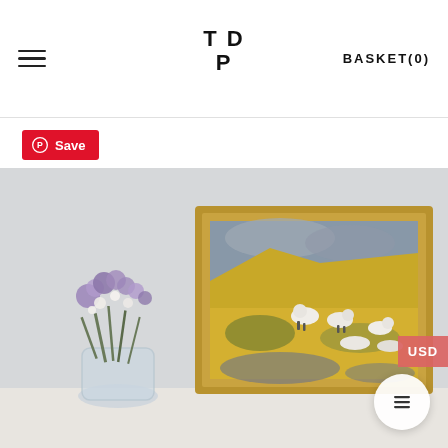TDP — BASKET(0)
[Figure (logo): TDP logo with T and D on top row, P below, styled in black capitals]
BASKET(0)
[Figure (other): Red Pinterest Save button with circle P icon and text Save]
[Figure (photo): A framed oil painting of sheep grazing on a yellow hillside with a grey sky, displayed on a white shelf next to a glass vase of purple and white wildflowers. The frame is ornate gold-toned wood. A USD currency tab appears on the right edge. A circular hamburger menu button appears in the lower right.]